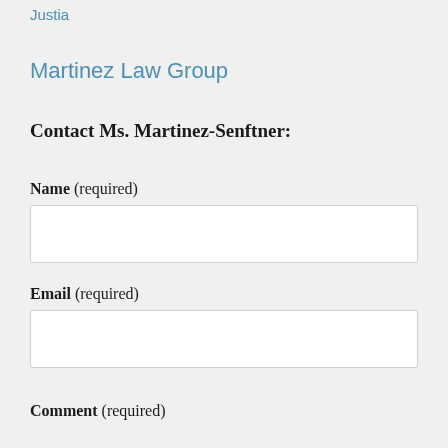Justia
Martinez Law Group
Contact Ms. Martinez-Senftner:
Name (required)
Email (required)
Comment (required)